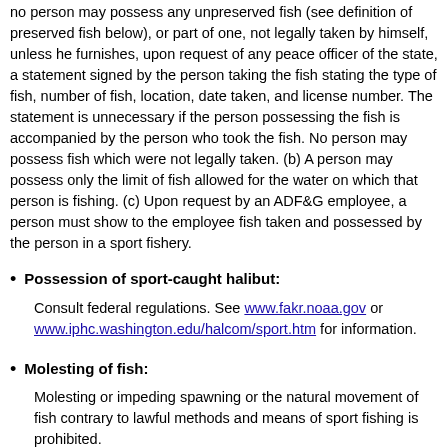no person may possess any unpreserved fish (see definition of preserved fish below), or part of one, not legally taken by himself, unless he furnishes, upon request of any peace officer of the state, a statement signed by the person taking the fish stating the type of fish, number of fish, location, date taken, and license number. The statement is unnecessary if the person possessing the fish is accompanied by the person who took the fish. No person may possess fish which were not legally taken. (b) A person may possess only the limit of fish allowed for the water on which that person is fishing. (c) Upon request by an ADF&G employee, a person must show to the employee fish taken and possessed by the person in a sport fishery.
Possession of sport-caught halibut: Consult federal regulations. See www.fakr.noaa.gov or www.iphc.washington.edu/halcom/sport.htm for information.
Molesting of fish: Molesting or impeding spawning or the natural movement of fish contrary to lawful methods and means of sport fishing is prohibited.